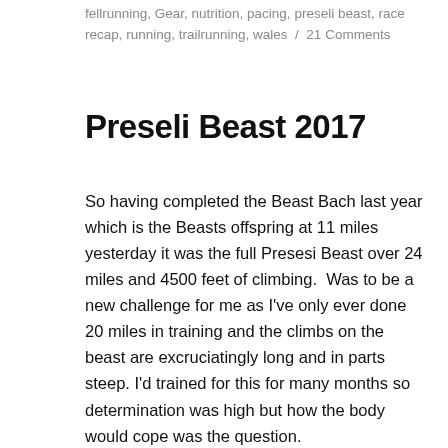fellrunning, Gear, nutrition, pacing, preseli beast, race recap, running, trailrunning, wales / 21 Comments
Preseli Beast 2017
So having completed the Beast Bach last year which is the Beasts offspring at 11 miles yesterday it was the full Presesi Beast over 24 miles and 4500 feet of climbing. Was to be a new challenge for me as I've only ever done 20 miles in training and the climbs on the beast are excruciatingly long and in parts steep. I'd trained for this for many months so determination was high but how the body would cope was the question.